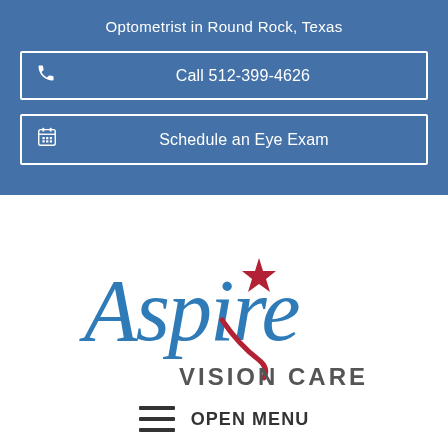Optometrist in Round Rock, Texas
Call 512-399-4626
Schedule an Eye Exam
[Figure (logo): Aspire Vision Care logo — cursive blue 'Aspire' with red star accent and 'VISION CARE' in gray block letters]
OPEN MENU